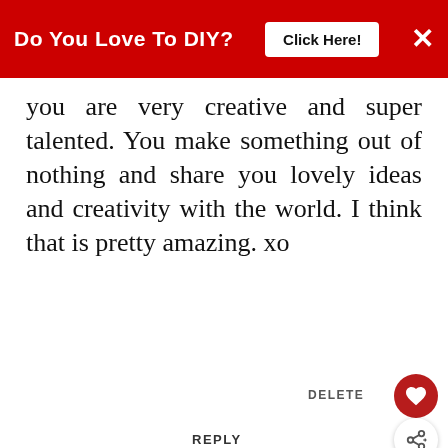[Figure (screenshot): Red advertisement banner at top: 'Do You Love To DIY?' with 'Click Here!' button and X close button]
you are very creative and super talented. You make something out of nothing and share you lovely ideas and creativity with the world. I think that is pretty amazing. xo
DELETE
REPLY
[Figure (infographic): What's Next widget with thumbnail image and text: 'WHAT'S NEXT → A Vintage Player Piano...']
Enter Comment
[Figure (infographic): Bottom advertisement for Circle K Gas Station with Circle K logo, navigation icon, and sound/volume icon]